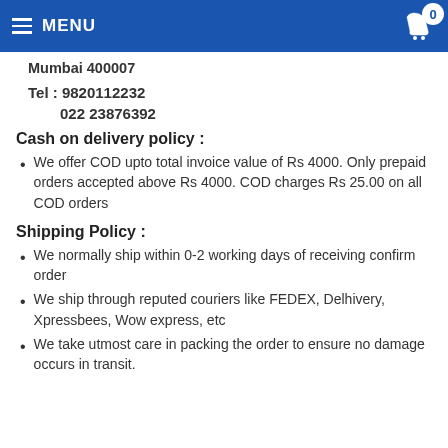MENU | Cart 0
Mumbai 400007
Tel : 9820112232
022 23876392
Cash on delivery policy :
We offer COD upto total invoice value of Rs 4000. Only prepaid orders accepted above Rs 4000. COD charges Rs 25.00 on all COD orders
Shipping Policy :
We normally ship within 0-2 working days of receiving confirm order
We ship through reputed couriers like FEDEX, Delhivery, Xpressbees, Wow express, etc
We take utmost care in packing the order to ensure no damage occurs in transit.